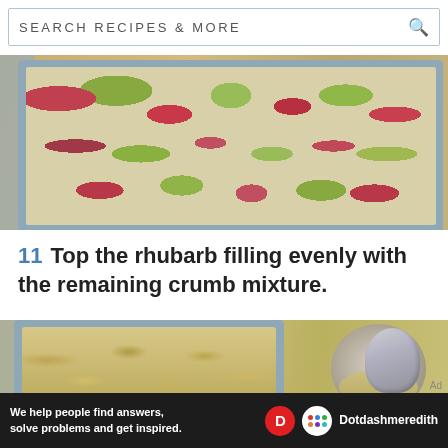SEARCH RECIPES & MORE
[Figure (photo): Overhead view of chopped rhubarb pieces filling a rectangular metal baking pan on a wooden surface]
11  Top the rhubarb filling evenly with the remaining crumb mixture.
[Figure (photo): Overhead view of crumb mixture spread evenly in a rectangular metal baking pan on a wooden surface, with a bowl and spoon alongside]
Ad
[Figure (logo): Dotdash Meredith advertisement banner: We help people find answers, solve problems and get inspired.]